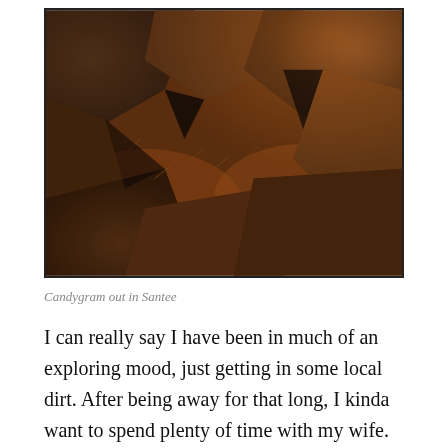[Figure (photo): Close-up photograph of large dark brown rocks and boulders with dry reddish-brown earth and sparse dry grass between them, taken outdoors in Santee.]
Candygram out in Santee
I can really say I have been in much of an exploring mood, just getting in some local dirt. After being away for that long, I kinda want to spend plenty of time with my wife. There is also a considerable amount of things that have to